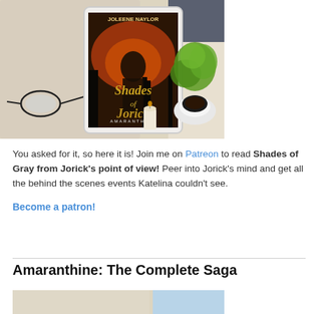[Figure (photo): Book 'Shades of Jorick' by Joleene Naylor on a tablet, surrounded by a white knitted blanket, glasses, a green plant, a candle, and a cup of coffee on a dark surface.]
You asked for it, so here it is! Join me on Patreon to read Shades of Gray from Jorick's point of view! Peer into Jorick's mind and get all the behind the scenes events Katelina couldn't see.
Become a patron!
Amaranthine: The Complete Saga
[Figure (photo): Bottom portion of a cozy book photo showing white knitted fabric and light blue background, partially visible.]